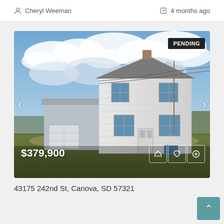Cheryl Weeman   4 months ago
[Figure (photo): Exterior photo of a two-story white farmhouse with a detached garage/outbuilding, cloudy sky backdrop, green lawn, PENDING badge in top right corner, price $379,900 in bottom left]
43175 242nd St, Canova, SD 57321